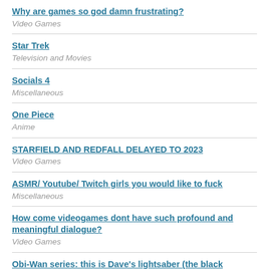Why are games so god damn frustrating?
Video Games
Star Trek
Television and Movies
Socials 4
Miscellaneous
One Piece
Anime
STARFIELD AND REDFALL DELAYED TO 2023
Video Games
ASMR/ Youtube/ Twitch girls you would like to fuck
Miscellaneous
How come videogames dont have such profound and meaningful dialogue?
Video Games
Obi-Wan series: this is Dave's lightsaber (the black…